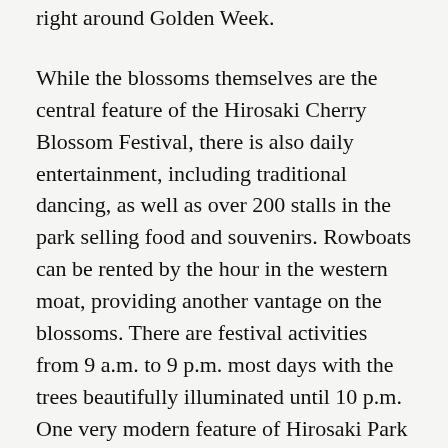right around Golden Week.
While the blossoms themselves are the central feature of the Hirosaki Cherry Blossom Festival, there is also daily entertainment, including traditional dancing, as well as over 200 stalls in the park selling food and souvenirs. Rowboats can be rented by the hour in the western moat, providing another vantage on the blossoms. There are festival activities from 9 a.m. to 9 p.m. most days with the trees beautifully illuminated until 10 p.m. One very modern feature of Hirosaki Park is free Wi-Fi throughout.
While many of the buildings of Hirosaki Castle were casualties of the Meiji period, other parts of Hirosaki benefited from Meiji modernization as Western missionaries and teachers came, leaving behind a thriving apple production and some beautiful